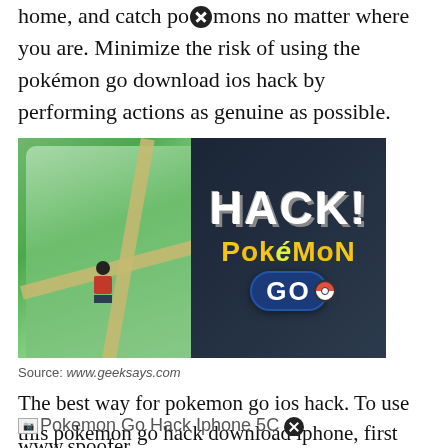home, and catch pokémons no matter where you are. Minimize the risk of using the pokémon go download ios hack by performing actions as genuine as possible.
[Figure (photo): Image showing a hand holding a smartphone with Pokémon GO game displayed on screen, with large text overlay reading 'HACK! Pokémon GO' on a dark background.]
Source: www.geeksays.com
The best way for pokemon go ios hack. To use this pokemon go hack download iphone, first install ispoofer on your windows pc.
[Figure (photo): Broken image placeholder for 'Pokemon Go Hack Iphone 5C']
www.spoofer